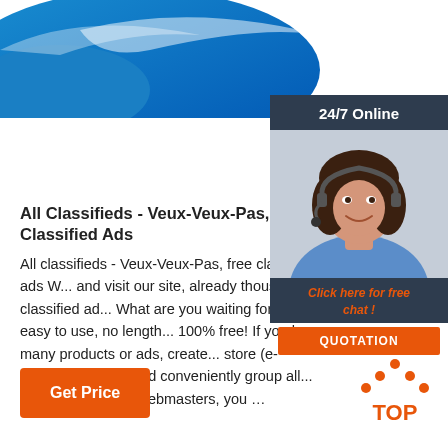[Figure (illustration): Blue wave/swoosh decorative image in top left area]
[Figure (photo): 24/7 Online customer support widget with woman wearing headset, orange QUOTATION button and 'Click here for free chat!' text on dark blue background]
All Classifieds - Veux-Veux-Pas, Free Classified Ads
All classifieds - Veux-Veux-Pas, free classified ads W... and visit our site, already thousands of classified ad... What are you waiting for? It's easy to use, no length... 100% free! If you have many products or ads, create... store (e-commerce shop) and conveniently group all... ads in your shop! Webmasters, you …
[Figure (other): Get Price orange button]
[Figure (logo): TOP logo with orange dots arranged in triangle above the word TOP in orange]